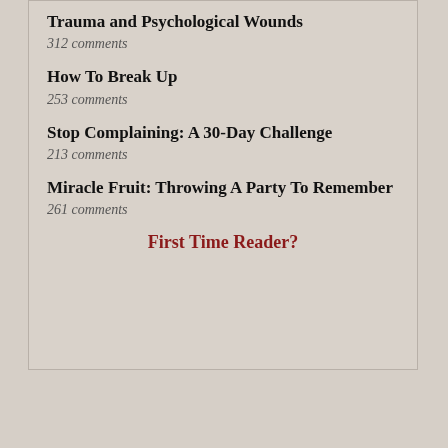Trauma and Psychological Wounds
312 comments
How To Break Up
253 comments
Stop Complaining: A 30-Day Challenge
213 comments
Miracle Fruit: Throwing A Party To Remember
261 comments
First Time Reader?